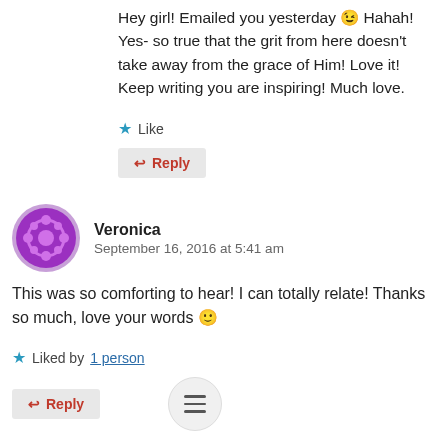Hey girl! Emailed you yesterday 😉 Hahah! Yes- so true that the grit from here doesn't take away from the grace of Him! Love it! Keep writing you are inspiring! Much love.
★ Like
↩ Reply
Veronica
September 16, 2016 at 5:41 am
This was so comforting to hear! I can totally relate! Thanks so much, love your words 🙂
★ Liked by 1 person
↩ Reply